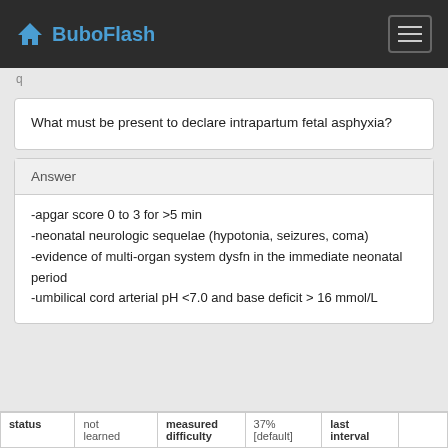BuboFlash
What must be present to declare intrapartum fetal asphyxia?
Answer
-apgar score 0 to 3 for >5 min
-neonatal neurologic sequelae (hypotonia, seizures, coma)
-evidence of multi-organ system dysfn in the immediate neonatal period
-umbilical cord arterial pH <7.0 and base deficit > 16 mmol/L
| status |  | measured difficulty |  | last interval |  |
| --- | --- | --- | --- | --- | --- |
|  | not learned |  | 37% [default] |  |  |